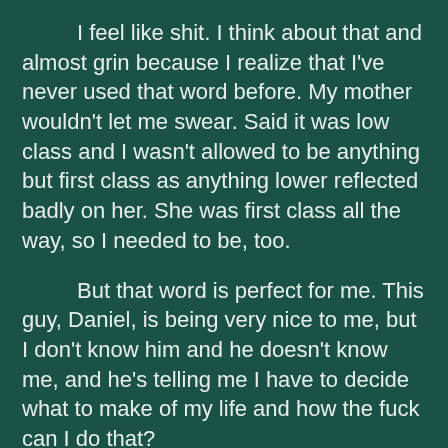I feel like shit. I think about that and almost grin because I realize that I've never used that word before. My mother wouldn't let me swear. Said it was low class and I wasn't allowed to be anything but first class as anything lower reflected badly on her. She was first class all the way, so I needed to be, too.
But that word is perfect for me. This guy, Daniel, is being very nice to me, but I don't know him and he doesn't know me, and he's telling me I have to decide what to make of my life and how the fuck can I do that?
Okay, there's another first-time word. But my mother isn't around, and maybe, hopefully, I'll never have to see her again. But Daniel...